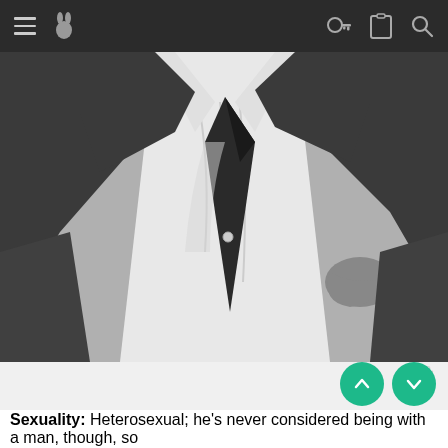Navigation bar with hamburger menu, logo, key icon, clipboard icon, search icon
[Figure (photo): Black and white close-up photo of a man in a dark suit and white dress shirt, adjusting or pulling his dark tie]
One more month to submit for Tales from Iwaku!!!
Sexuality: Heterosexual; he's never considered being with a man, though, so